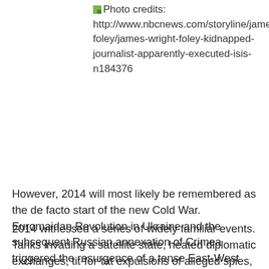Photo credits: http://www.nbcnews.com/storyline/james-foley/james-wright-foley-kidnapped-journalist-apparently-executed-isis-n184376
However, 2014 will most likely be remembered as the de facto start of the new Cold War. Euromaidan Revolution in Ukraine and the subsequent Russian annexation of Crimea triggered the resurgence of a tense East-West relationship, resemblant of that in the 20th century.
2014 witnessed a series of widely familiar events. Tanks invading a satellite state, heated diplomatic exchanges, tit-for-tat expulsions of alleged spies, projections of fault on the opponent, not to mention the Ukrainian plans of building a